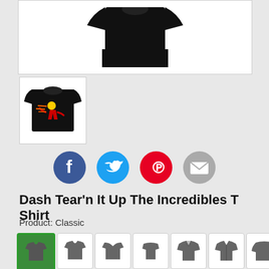[Figure (photo): Black t-shirt product main image on white background, top portion visible]
[Figure (photo): Thumbnail of black t-shirt with Incredibles Dash graphic design]
[Figure (illustration): Social sharing icons row: Facebook (blue), Twitter (light blue), Pinterest (red), Email (gray)]
Dash Tear'n It Up The Incredibles T Shirt
Product: Classic
[Figure (illustration): Product type selection grid showing various apparel options: classic tee, fitted tee, v-neck, t-shirt, hoodie, zip hoodie, long sleeve, baseball tee, women's tee, racerback tank, fitted women's, baby onesie, women's v-neck, tank top, mug, travel mug - first cell selected with green border]